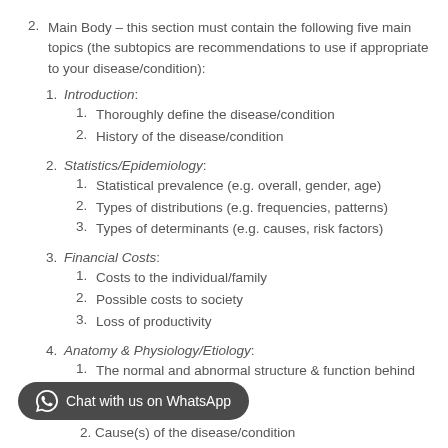2. Main Body – this section must contain the following five main topics (the subtopics are recommendations to use if appropriate to your disease/condition):
1. Introduction:
1. Thoroughly define the disease/condition
2. History of the disease/condition
2. Statistics/Epidemiology:
1. Statistical prevalence (e.g. overall, gender, age)
2. Types of distributions (e.g. frequencies, patterns)
3. Types of determinants (e.g. causes, risk factors)
3. Financial Costs:
1. Costs to the individual/family
2. Possible costs to society
3. Loss of productivity
4. Anatomy & Physiology/Etiology:
1. The normal and abnormal structure & function behind
2. Cause(s) of the disease/condition